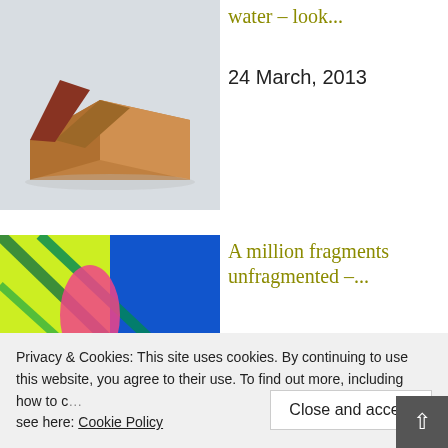[Figure (photo): Cardboard box or paper tray on snowy/light background]
water – look...
24 March, 2013
[Figure (photo): Colorful abstract art with bright greens, blues, pink]
A million fragments unfragmented –...
Thank you for visiting, I hope you are enjoying. Pl...
Privacy & Cookies: This site uses cookies. By continuing to use this website, you agree to their use. To find out more, including how to c... see here: Cookie Policy
Close and accept